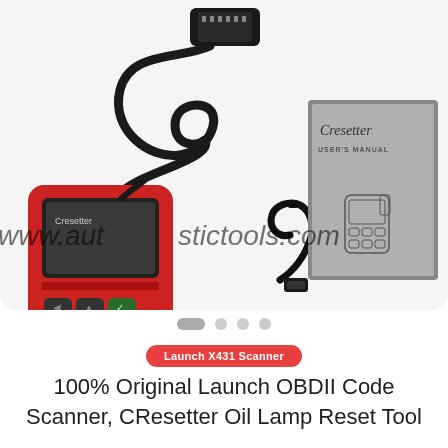[Figure (photo): Product photo showing a red Launch CResetter OBDII code scanner/diagnostic tool with OBD connector cable, a USB cable, and a user's manual booklet (titled 'CResetter USER'S MANUAL') arranged on a white background. A watermark 'www.autodiagnostictools.com' is overlaid on the image.]
Launch X431 Scanner
100% Original Launch OBDII Code Scanner, CResetter Oil Lamp Reset Tool